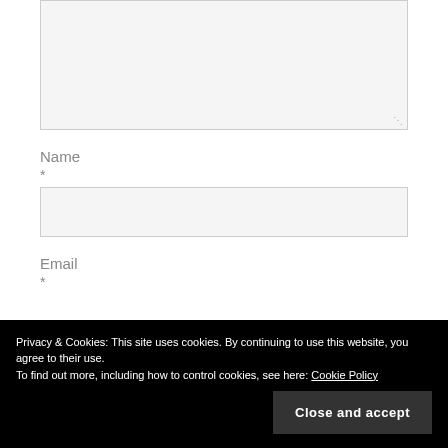[textarea form field]
Name
*
[name input field]
Email
*
Privacy & Cookies: This site uses cookies. By continuing to use this website, you agree to their use.
To find out more, including how to control cookies, see here: Cookie Policy
Close and accept